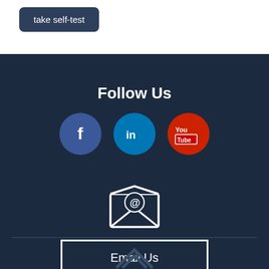take self-test
Follow Us
[Figure (illustration): Social media icons: Facebook (blue circle with f), LinkedIn (teal circle with in), YouTube (red circle with You/Tube logo)]
[Figure (illustration): Email envelope icon with @ symbol, open envelope shape with diagonal lines]
Email Us